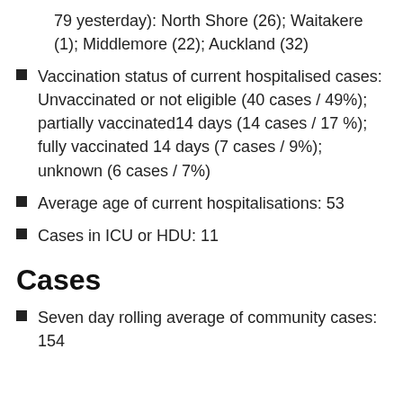79 yesterday): North Shore (26); Waitakere (1); Middlemore (22); Auckland (32)
Vaccination status of current hospitalised cases: Unvaccinated or not eligible (40 cases / 49%); partially vaccinated14 days (14 cases / 17 %); fully vaccinated 14 days (7 cases / 9%); unknown (6 cases / 7%)
Average age of current hospitalisations: 53
Cases in ICU or HDU: 11
Cases
Seven day rolling average of community cases: 154